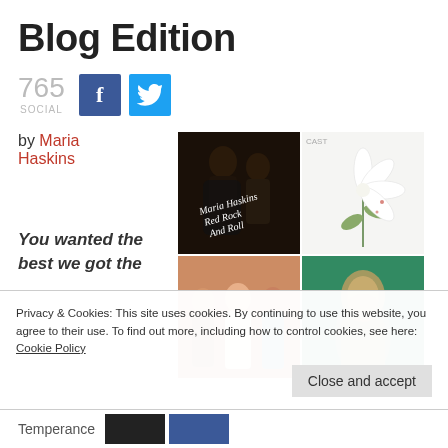Blog Edition
765 SOCIAL
by Maria Haskins
[Figure (photo): 2x2 grid of music-related images: top-left shows a dark rock band photo with handwritten text 'Maria Haskins Red Rock And Roll', top-right shows a white flower on white background with 'CAST' text, bottom-left shows three men (a band), bottom-right shows a blurred figure on green background]
You wanted the best we got the
Privacy & Cookies: This site uses cookies. By continuing to use this website, you agree to their use. To find out more, including how to control cookies, see here: Cookie Policy
Close and accept
Temperance